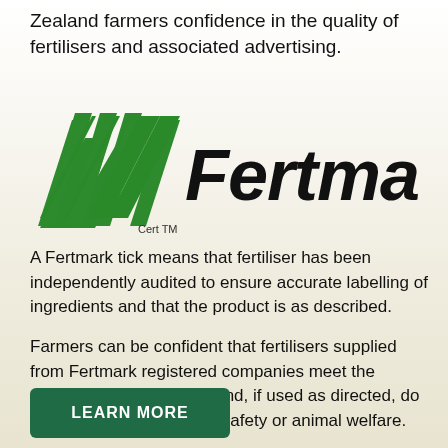Zealand farmers confidence in the quality of fertilisers and associated advertising.
[Figure (logo): Fertmark logo with green tick/chevron marks and the text 'Fertmark' in bold italic, with 'Cert TM' below the graphic mark.]
A Fertmark tick means that fertiliser has been independently audited to ensure accurate labelling of ingredients and that the product is as described.
Farmers can be confident that fertilisers supplied from Fertmark registered companies meet the claimed nutrient content and, if used as directed, do not pose hazards to food safety or animal welfare.
LEARN MORE